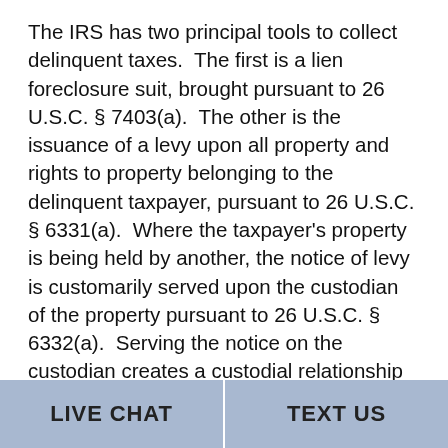The IRS has two principal tools to collect delinquent taxes. The first is a lien foreclosure suit, brought pursuant to 26 U.S.C. § 7403(a). The other is the issuance of a levy upon all property and rights to property belonging to the delinquent taxpayer, pursuant to 26 U.S.C. § 6331(a). Where the taxpayer's property is being held by another, the notice of levy is customarily served upon the custodian of the property pursuant to 26 U.S.C. § 6332(a). Serving the notice on the custodian creates a custodial relationship between the person holding the property and the IRS so that the property comes into constructive possession of the government. If the custodian fails or refuses to surrender the property or rights to property subject to the levy, the custodian becomes liable in his own person and estate to the government in
LIVE CHAT   TEXT US